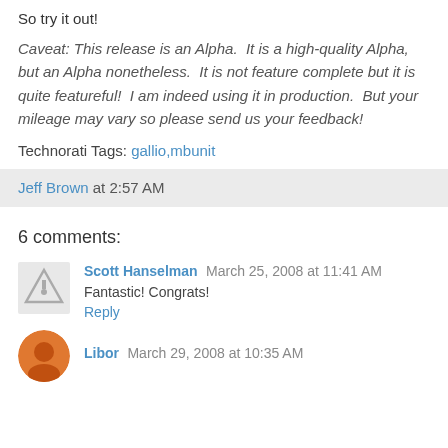So try it out!
Caveat: This release is an Alpha. It is a high-quality Alpha, but an Alpha nonetheless. It is not feature complete but it is quite featureful! I am indeed using it in production. But your mileage may vary so please send us your feedback!
Technorati Tags: gallio,mbunit
Jeff Brown at 2:57 AM
6 comments:
Scott Hanselman March 25, 2008 at 11:41 AM
Fantastic! Congrats!
Reply
Libor March 29, 2008 at 10:35 AM